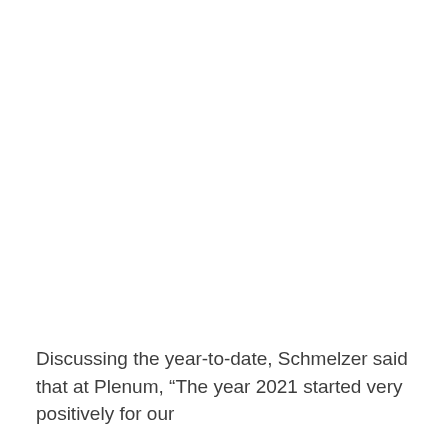Discussing the year-to-date, Schmelzer said that at Plenum, “The year 2021 started very positively for our